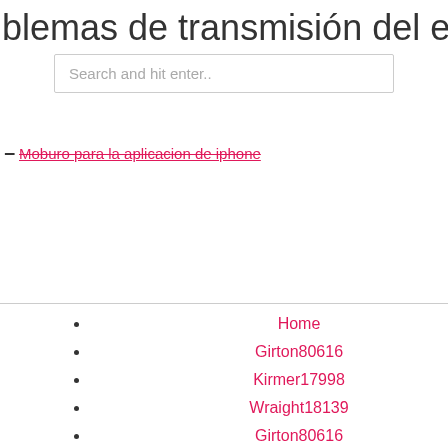blemas de transmisión del enrutador
Search and hit enter..
Moburo para la aplicacion de iphone
Home
Girton80616
Kirmer17998
Wraight18139
Girton80616